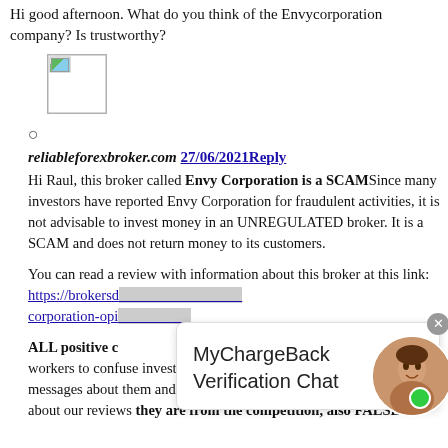Hi good afternoon. What do you think of the Envycorporation company? Is trustworthy?
[Figure (photo): Small avatar/profile image placeholder with a landscape icon in the top-left corner]
reliableforexbroker.com 27/06/2021 Reply
Hi Raul, this broker called Envy Corporation is a SCAM Since many investors have reported Envy Corporation for fraudulent activities, it is not advisable to invest money in an UNREGULATED broker. It is a SCAM and does not return money to its customers.
You can read a review with information about this broker at this link: https://brokersd[...] corporation-opi[...]
ALL positive c[...] FALSE, they are made by their own workers to confuse investors, they flood social networks with positive messages about them and it is all FA[...] and when customers ask about our reviews they are from the competition, also FALSE!.
[Figure (screenshot): MyChargeBack Verification Chat overlay widget with close button and female avatar with green online dot]